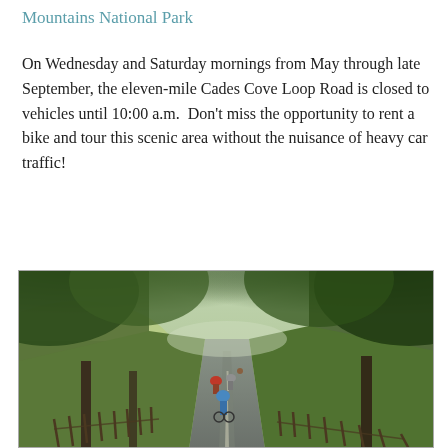Mountains National Park
On Wednesday and Saturday mornings from May through late September, the eleven-mile Cades Cove Loop Road is closed to vehicles until 10:00 a.m.  Don't miss the opportunity to rent a bike and tour this scenic area without the nuisance of heavy car traffic!
[Figure (photo): Cyclists riding along a tree-lined road through Cades Cove, surrounded by lush green trees and meadows on a misty morning.]